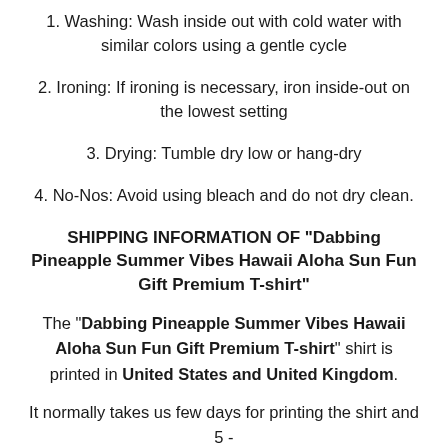1. Washing: Wash inside out with cold water with similar colors using a gentle cycle
2. Ironing: If ironing is necessary, iron inside-out on the lowest setting
3. Drying: Tumble dry low or hang-dry
4. No-Nos: Avoid using bleach and do not dry clean.
SHIPPING INFORMATION OF "Dabbing Pineapple Summer Vibes Hawaii Aloha Sun Fun Gift Premium T-shirt"
The "Dabbing Pineapple Summer Vibes Hawaii Aloha Sun Fun Gift Premium T-shirt" shirt is printed in United States and United Kingdom.
It normally takes us few days for printing the shirt and 5 -